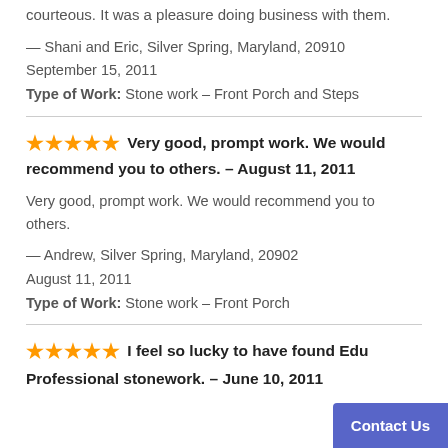courteous. It was a pleasure doing business with them.
— Shani and Eric, Silver Spring, Maryland, 20910
September 15, 2011
Type of Work: Stone work – Front Porch and Steps
★★★★★ Very good, prompt work. We would recommend you to others. – August 11, 2011
Very good, prompt work. We would recommend you to others.
— Andrew, Silver Spring, Maryland, 20902
August 11, 2011
Type of Work: Stone work – Front Porch
★★★★★ I feel so lucky to have found Edu... Professional stonework. – June 10, 2011